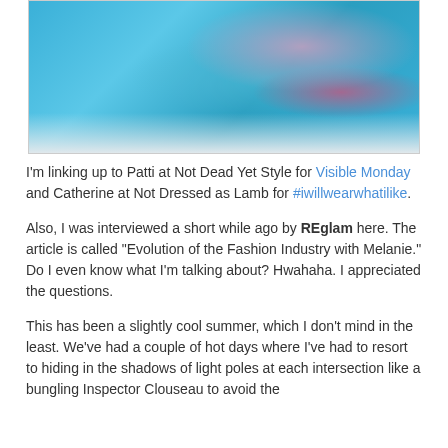[Figure (photo): Partial photo of a person wearing a bright blue garment with pink/magenta embroidery trim and a floral patterned fabric, sitting on white bedding. Only torso, arms, and hands are visible.]
I'm linking up to Patti at Not Dead Yet Style for Visible Monday and Catherine at Not Dressed as Lamb for #iwillwearwhatilike.
Also, I was interviewed a short while ago by REglam here. The article is called "Evolution of the Fashion Industry with Melanie." Do I even know what I'm talking about? Hwahaha. I appreciated the questions.
This has been a slightly cool summer, which I don't mind in the least. We've had a couple of hot days where I've had to resort to hiding in the shadows of light poles at each intersection like a bungling Inspector Clouseau to avoid the